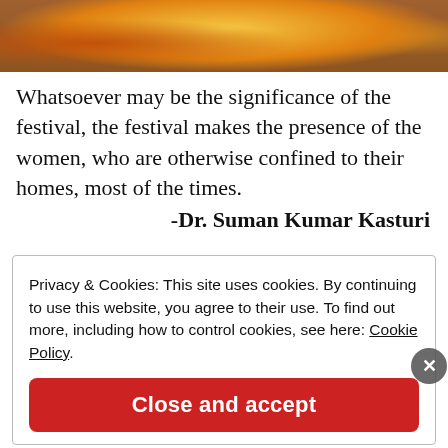[Figure (photo): Photo of flowers and offerings, likely marigolds at a festival, cropped at top]
Whatsoever may be the significance of the festival, the festival makes the presence of the women, who are otherwise confined to their homes, most of the times.
-Dr. Suman Kumar Kasturi
Privacy & Cookies: This site uses cookies. By continuing to use this website, you agree to their use. To find out more, including how to control cookies, see here: Cookie Policy
Close and accept